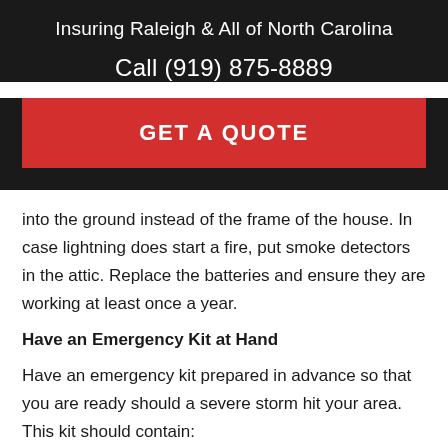Insuring Raleigh & All of North Carolina
Call (919) 875-8889
[Figure (other): Red button with white bold text reading GET A QUOTE]
into the ground instead of the frame of the house. In case lightning does start a fire, put smoke detectors in the attic. Replace the batteries and ensure they are working at least once a year.
Have an Emergency Kit at Hand
Have an emergency kit prepared in advance so that you are ready should a severe storm hit your area. This kit should contain: